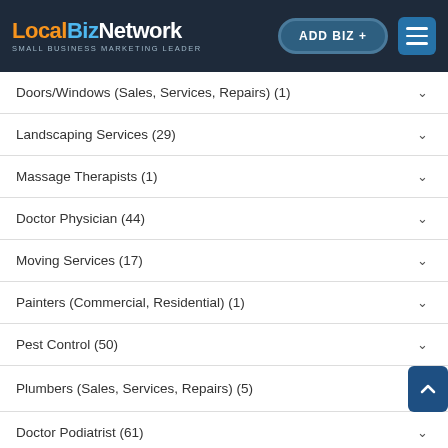LocalBizNetwork — Small Business Marketing Leader | ADD BIZ +
Doors/Windows (Sales, Services, Repairs) (1)
Landscaping Services (29)
Massage Therapists (1)
Doctor Physician (44)
Moving Services (17)
Painters (Commercial, Residential) (1)
Pest Control (50)
Plumbers (Sales, Services, Repairs) (5)
Doctor Podiatrist (61)
Garage Flooring/Garage Doors (1)